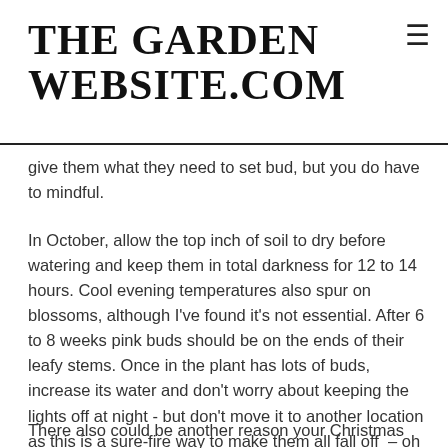THE GARDEN WEBSITE.COM
give them what they need to set bud, but you do have to mindful.
In October, allow the top inch of soil to dry before watering and keep them in total darkness for 12 to 14 hours. Cool evening temperatures also spur on blossoms, although I've found it's not essential. After 6 to 8 weeks pink buds should be on the ends of their leafy stems. Once in the plant has lots of buds, increase its water and don't worry about keeping the lights off at night - but don't move it to another location as this is a sure-fire way to make them all fall off – oh my! Bud drop and a lack of flowers may also be caused by full sun. Surprisingly, these succulents from the jungles of Brazil don't like to be in full sun; they'd rather have bright filtered sun.
There also could be another reason your Christmas cactus